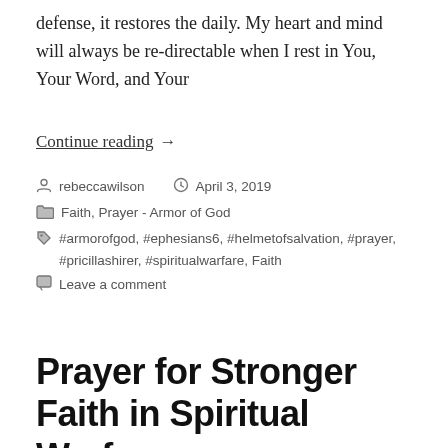defense, it restores the daily. My heart and mind will always be re-directable when I rest in You, Your Word, and Your
Continue reading →
rebeccawilson   April 3, 2019
Faith, Prayer - Armor of God
#armorofgod, #ephesians6, #helmetofsalvation, #prayer, #pricillashirer, #spiritualwarfare, Faith
Leave a comment
Prayer for Stronger Faith in Spiritual Warfare